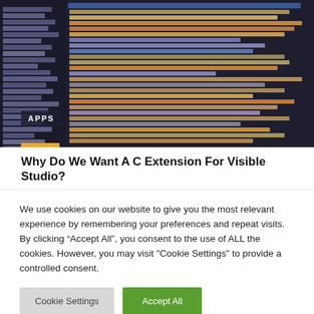[Figure (screenshot): Dark-themed code editor screenshot showing file tree on left and colorful syntax-highlighted code on right, with an 'APPS' badge overlay in the lower left corner and an orange bar at the bottom.]
Why Do We Want A C Extension For Visible Studio?
We use cookies on our website to give you the most relevant experience by remembering your preferences and repeat visits. By clicking “Accept All”, you consent to the use of ALL the cookies. However, you may visit "Cookie Settings" to provide a controlled consent.
Cookie Settings   Accept All